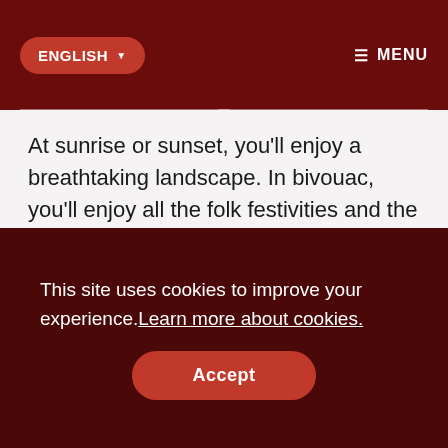ENGLISH  ☰ MENU
At sunrise or sunset, you'll enjoy a breathtaking landscape. In bivouac, you'll enjoy all the folk festivities and the exceptional Saharan culture. On the back of a camel, admire all the wild landscapes.
[Figure (photo): Partial image strip visible at bottom of content area]
This site uses cookies to improve your experience. Learn more about cookies.
Accept